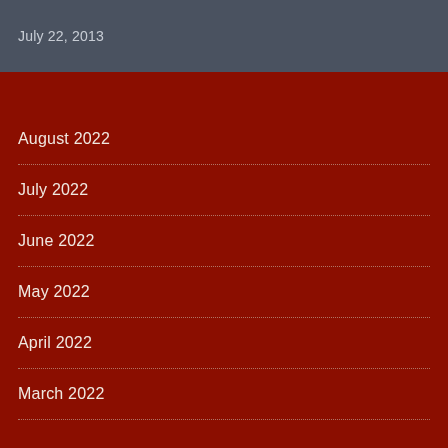July 22, 2013
August 2022
July 2022
June 2022
May 2022
April 2022
March 2022